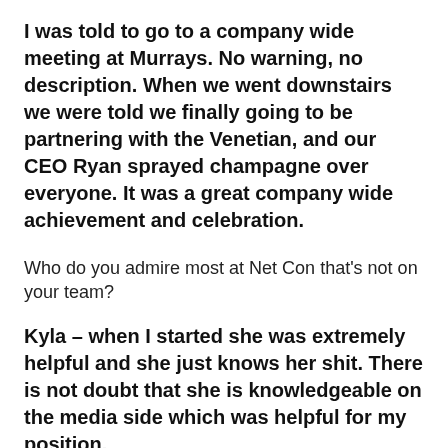I was told to go to a company wide meeting at Murrays. No warning, no description. When we went downstairs we were told we finally going to be partnering with the Venetian, and our CEO Ryan sprayed champagne over everyone. It was a great company wide achievement and celebration.
Who do you admire most at Net Con that’s not on your team?
Kyla – when I started she was extremely helpful and she just knows her shit. There is not doubt that she is knowledgeable on the media side which was helpful for my position.
What are your go to taco toppings?